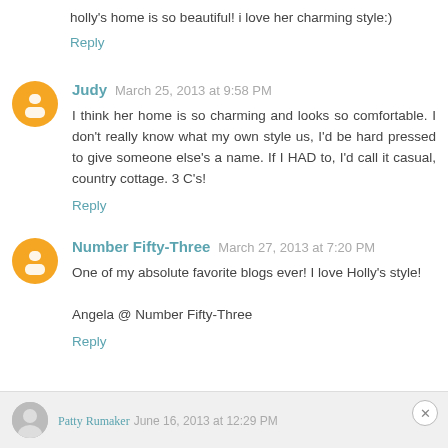holly's home is so beautiful! i love her charming style:)
Reply
Judy  March 25, 2013 at 9:58 PM
I think her home is so charming and looks so comfortable. I don't really know what my own style us, I'd be hard pressed to give someone else's a name. If I HAD to, I'd call it casual, country cottage. 3 C's!
Reply
Number Fifty-Three  March 27, 2013 at 7:20 PM
One of my absolute favorite blogs ever! I love Holly's style!

Angela @ Number Fifty-Three
Reply
Patty Rumaker  June 16, 2013 at 12:29 PM